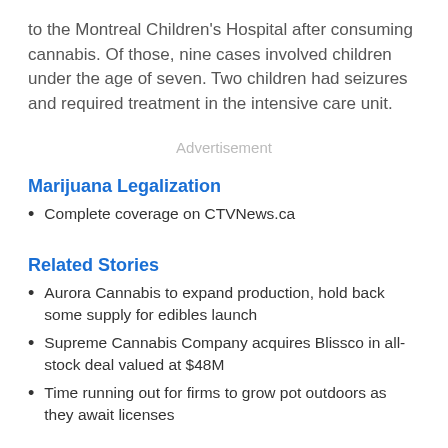to the Montreal Children's Hospital after consuming cannabis. Of those, nine cases involved children under the age of seven. Two children had seizures and required treatment in the intensive care unit.
Advertisement
Marijuana Legalization
Complete coverage on CTVNews.ca
Related Stories
Aurora Cannabis to expand production, hold back some supply for edibles launch
Supreme Cannabis Company acquires Blissco in all-stock deal valued at $48M
Time running out for firms to grow pot outdoors as they await licenses